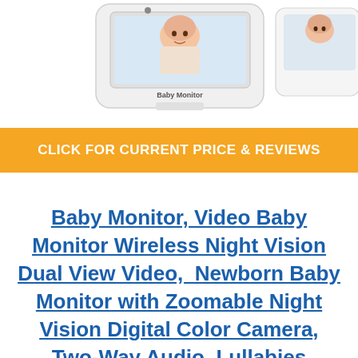[Figure (photo): Product photo of a Baby Monitor device with screen showing a baby image, on a white background. The device has 'Baby Monitor' text visible on it.]
CLICK FOR CURRENT PRICE & REVIEWS
Baby Monitor, Video Baby Monitor Wireless Night Vision Dual View Video, Newborn Baby Monitor with Zoomable Night Vision Digital Color Camera, Two-Way Audio, Lullabies